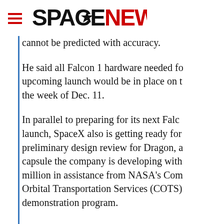SPACENEWS
cannot be predicted with accuracy.
He said all Falcon 1 hardware needed for upcoming launch would be in place on the week of Dec. 11.
In parallel to preparing for its next Falcon launch, SpaceX also is getting ready for preliminary design review for Dragon, a capsule the company is developing with million in assistance from NASA's Commercial Orbital Transportation Services (COTS) demonstration program.
Musk praised the COTS program as potentially "one of the best NASA programs ever," holds the potential to really save the s...